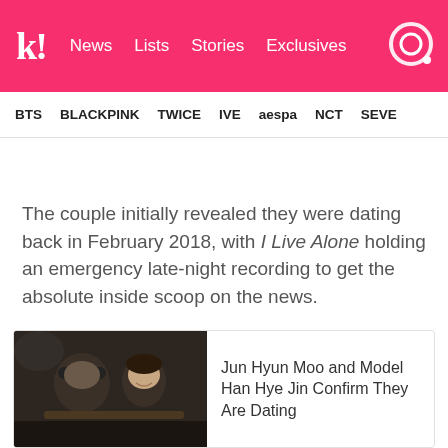k! News Lists Stories Exclusives
BTS BLACKPINK TWICE IVE aespa NCT SEVE
The couple initially revealed they were dating back in February 2018, with I Live Alone holding an emergency late-night recording to get the absolute inside scoop on the news.
[Figure (photo): Two people seated at a table in a dimly lit setting; one person wearing a cap on the left, a woman smiling on the right.]
Jun Hyun Moo and Model Han Hye Jin Confirm They Are Dating